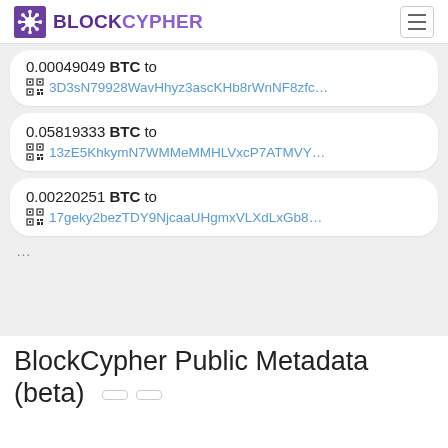BLOCKCYPHER
0.00049049 BTC to 3D3sN79928WavHhyz3ascKHb8rWnNF8zfc…
0.05819333 BTC to 13zE5KhkymN7WMMeMMHLVxcP7ATMVY…
0.00220251 BTC to 17geky2bezTDY9NjcaaUHgmxVLXdLxGb8…
...
BlockCypher Public Metadata (beta)